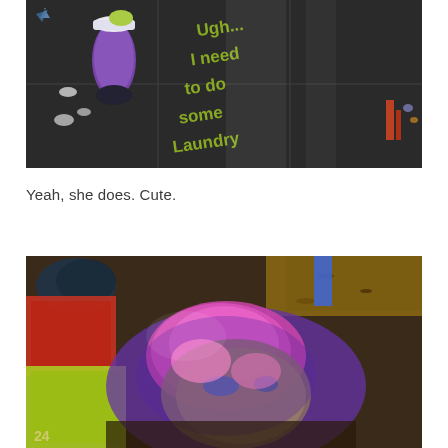[Figure (photo): Chalk art on pavement showing a cartoon character (purple sock/clothing) with scattered oval shapes and text reading 'Ugh... I need to do some Laundry' in green chalk lettering]
Yeah, she does. Cute.
[Figure (photo): Chalk art on pavement showing a colorful portrait/face with purple and pink tones, red and yellow areas, with an arm/figure in the upper left corner and mulch/ground visible at the top right]